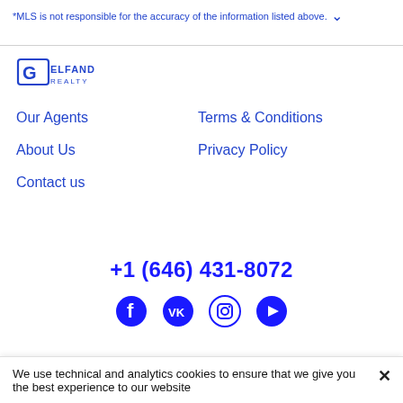*MLS is not responsible for the accuracy of the information listed above.
[Figure (logo): Gelfand Realty logo — stylized G with box shape and text GELFAND REALTY]
Our Agents
Terms & Conditions
About Us
Privacy Policy
Contact us
+1 (646) 431-8072
[Figure (illustration): Social media icons: Facebook, VK, Instagram, YouTube]
We use technical and analytics cookies to ensure that we give you the best experience to our website